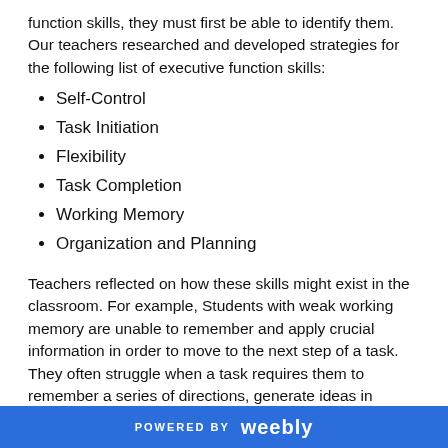function skills, they must first be able to identify them. Our teachers researched and developed strategies for the following list of executive function skills:
Self-Control
Task Initiation
Flexibility
Task Completion
Working Memory
Organization and Planning
Teachers reflected on how these skills might exist in the classroom. For example, Students with weak working memory are unable to remember and apply crucial information in order to move to the next step of a task. They often struggle when a task requires them to remember a series of directions, generate ideas in
POWERED BY weebly